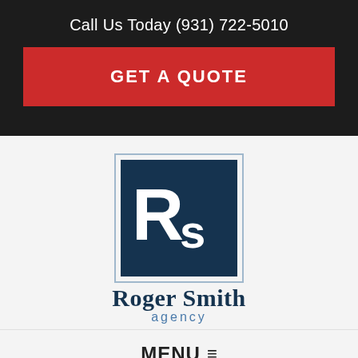Call Us Today (931) 722-5010
GET A QUOTE
[Figure (logo): Roger Smith Agency logo: dark navy square with 'Rs' monogram in white, bordered by thin light blue frame, with 'Roger Smith' in dark navy serif/sans text and 'agency' in smaller steel blue text below]
MENU
Home > Life & Health Insurance > Individual Life Insurance